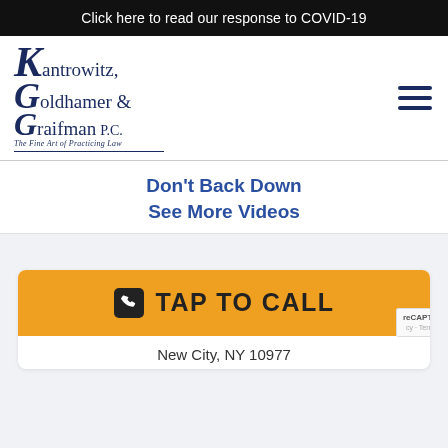Click here to read our response to COVID-19
[Figure (logo): Kantrowitz, Goldhamer & Graifman P.C. law firm logo with serif font and tagline 'The Fine Art of Practicing Law', accompanied by a hamburger menu icon]
Don't Back Down
See More Videos
TAP TO CALL
New City, NY 10977